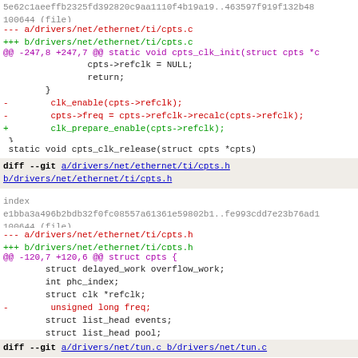5e62c1aeeffb2325fd392820c9aa1110f4b19a19..463597f919f132b48
100644 (file)
--- a/drivers/net/ethernet/ti/cpts.c
+++ b/drivers/net/ethernet/ti/cpts.c
@@ -247,8 +247,7 @@ static void cpts_clk_init(struct cpts *c
cpts->refclk = NULL;
                return;
        }
-        clk_enable(cpts->refclk);
-        cpts->freq = cpts->refclk->recalc(cpts->refclk);
+        clk_prepare_enable(cpts->refclk);
 }
static void cpts_clk_release(struct cpts *cpts)
diff --git a/drivers/net/ethernet/ti/cpts.h b/drivers/net/ethernet/ti/cpts.h
index e1bba3a496b2bdb32f0fc08557a61361e59802b1..fe993cdd7e23b76ad1
100644 (file)
--- a/drivers/net/ethernet/ti/cpts.h
+++ b/drivers/net/ethernet/ti/cpts.h
@@ -120,7 +120,6 @@ struct cpts {
struct delayed_work overflow_work;
        int phc_index;
        struct clk *refclk;
-        unsigned long freq;
        struct list_head events;
        struct list_head pool;
        struct cpts_event pool_data[CPTS_MAX_EVENTS];
diff --git a/drivers/net/tun.c b/drivers/net/tun.c